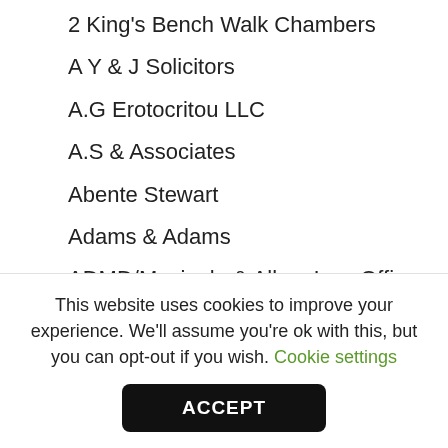2 King's Bench Walk Chambers
A Y & J Solicitors
A.G Erotocritou LLC
A.S & Associates
Abente Stewart
Adams & Adams
ADMD/Mavioglu & Alkan Law Office
Adnan Sundra & Low
Advokatfirman Cederquist KB
AEQUITAS
This website uses cookies to improve your experience. We'll assume you're ok with this, but you can opt-out if you wish. Cookie settings
ACCEPT